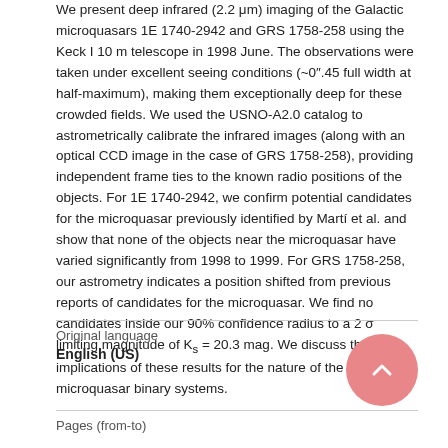We present deep infrared (2.2 μm) imaging of the Galactic microquasars 1E 1740-2942 and GRS 1758-258 using the Keck I 10 m telescope in 1998 June. The observations were taken under excellent seeing conditions (~0".45 full width at half-maximum), making them exceptionally deep for these crowded fields. We used the USNO-A2.0 catalog to astrometrically calibrate the infrared images (along with an optical CCD image in the case of GRS 1758-258), providing independent frame ties to the known radio positions of the objects. For 1E 1740-2942, we confirm potential candidates for the microquasar previously identified by Martí et al. and show that none of the objects near the microquasar have varied significantly from 1998 to 1999. For GRS 1758-258, our astrometry indicates a position shifted from previous reports of candidates for the microquasar. We find no candidates inside our 90% confidence radius to a 2 σ limiting magnitude of K_s = 20.3 mag. We discuss the implications of these results for the nature of the microquasar binary systems.
Original language
English (US)
Pages (from-to)